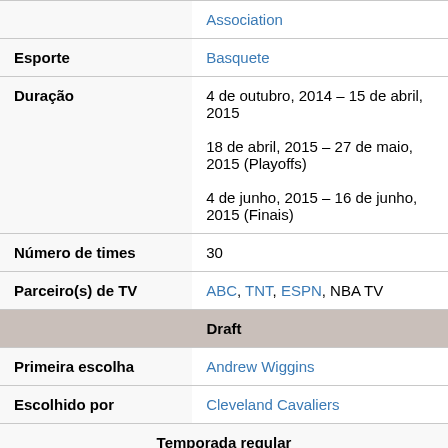| Label | Value |
| --- | --- |
|  | Association |
| Esporte | Basquete |
| Duração | 4 de outubro, 2014 – 15 de abril, 2015
18 de abril, 2015 – 27 de maio, 2015 (Playoffs)
4 de junho, 2015 – 16 de junho, 2015 (Finais) |
| Número de times | 30 |
| Parceiro(s) de TV | ABC, TNT, ESPN, NBA TV |
| Draft |  |
| Primeira escolha | Andrew Wiggins |
| Escolhido por | Cleveland Cavaliers |
| Temporada regular |  |